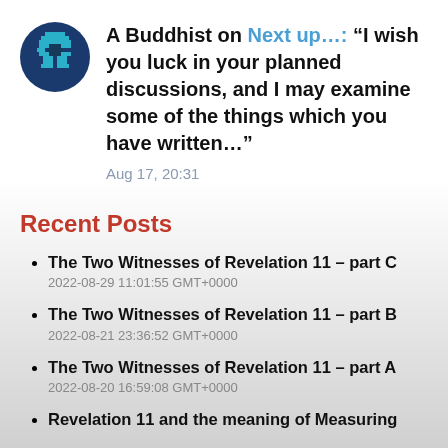A Buddhist on Next up…: “I wish you luck in your planned discussions, and I may examine some of the things which you have written…”
Aug 17, 20:31
Recent Posts
The Two Witnesses of Revelation 11 – part C
2022-08-29 11:01:55 GMT+0000
The Two Witnesses of Revelation 11 – part B
2022-08-21 23:36:52 GMT+0000
The Two Witnesses of Revelation 11 – part A
2022-08-20 16:59:08 GMT+0000
Revelation 11 and the meaning of Measuring…